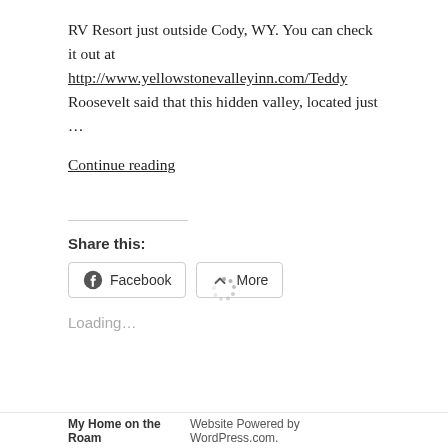RV Resort just outside Cody, WY. You can check it out at http://www.yellowstonevalleyinn.com/Teddy Roosevelt said that this hidden valley, located just ...
Continue reading
Share this:
[Figure (other): Share buttons: Facebook and More]
Loading...
[Figure (other): Loading spinner icon]
My Home on the Roam    Website Powered by WordPress.com.